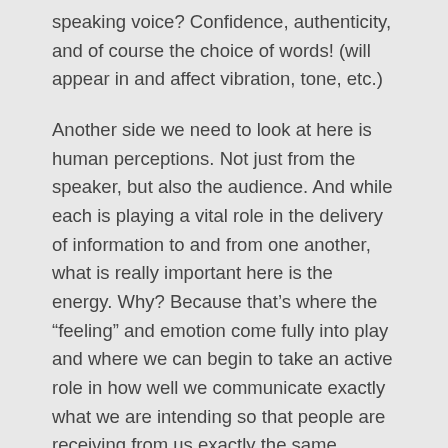speaking voice? Confidence, authenticity, and of course the choice of words! (will appear in and affect vibration, tone, etc.)
Another side we need to look at here is human perceptions. Not just from the speaker, but also the audience. And while each is playing a vital role in the delivery of information to and from one another, what is really important here is the energy. Why? Because that’s where the “feeling” and emotion come fully into play and where we can begin to take an active role in how well we communicate exactly what we are intending so that people are receiving from us exactly the same. Remember our emotions or “e-motions” are nothing more than energy-in-motion.
We learn from merely observing nature that everything moves and that movement or “flow” is, in essence, the